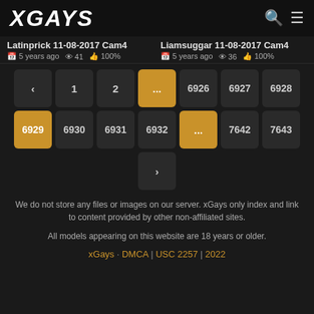XGAYS
Latinprick 11-08-2017 Cam4
5 years ago  41  100%
Liamsuggar 11-08-2017 Cam4
5 years ago  36  100%
[Figure (other): Pagination buttons: < 1 2 ... 6926 6927 6928 / 6929 6930 6931 6932 ... 7642 7643 / >]
We do not store any files or images on our server. xGays only index and link to content provided by other non-affiliated sites.
All models appearing on this website are 18 years or older.
xGays · DMCA | USC 2257 | 2022